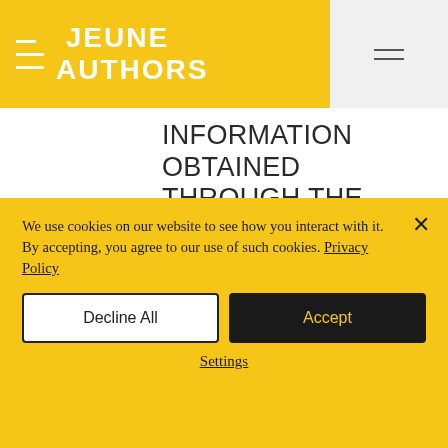JEUNE AUTHORS
INFORMATION OBTAINED THROUGH THE WEBSITE, INCLUDING, WITHOUT LIMITATION, DAMAGES FOR LOST PROFITS, LOSS OF GOODWILL, LOSS OR CORRUPTION OF DATA, WORK STOPPAGE, ACCURACY OF RESULTS, OR COMPUTER FAILURE OR MALFUNCTION, EVEN IF AN AUTHORIZED REPRESENTATIVE OF
We use cookies on our website to see how you interact with it. By accepting, you agree to our use of such cookies. Privacy Policy
Decline All
Accept
Settings